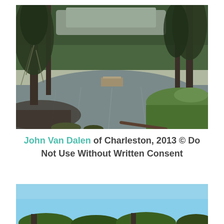[Figure (photo): A serene pond or lake scene with a small floating dock in the center, surrounded by tall cypress trees draped with Spanish moss on the left and lush green grass and trees on the right. The water reflects the trees and sky. Overcast/misty atmosphere.]
John Van Dalen of Charleston, 2013 © Do Not Use Without Written Consent
[Figure (photo): A partially visible outdoor scene with blue sky at the top and tree tops visible at the bottom, cropped at the page edge.]